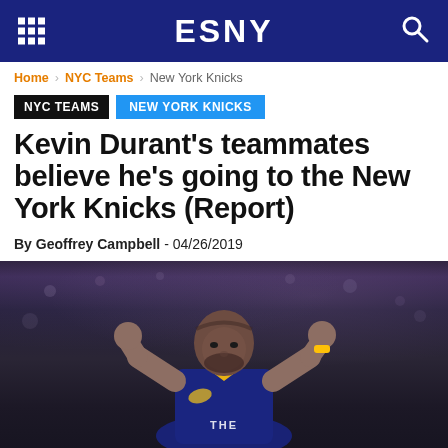ESNY
Home › NYC Teams › New York Knicks
NYC TEAMS  NEW YORK KNICKS
Kevin Durant's teammates believe he's going to the New York Knicks (Report)
By Geoffrey Campbell - 04/26/2019
[Figure (photo): Kevin Durant in Golden State Warriors uniform with hands raised to his head/ears, looking upward, with blurred arena background]